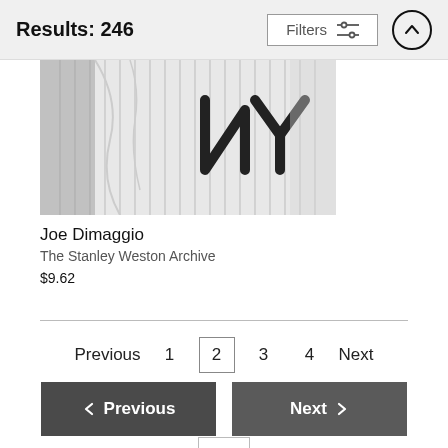Results: 246
[Figure (photo): Black and white photo of a New York Yankees pinstripe jersey with the NY logo visible]
Joe Dimaggio
The Stanley Weston Archive
$9.62
Previous  1  2  3  4  Next
< Previous    Next >